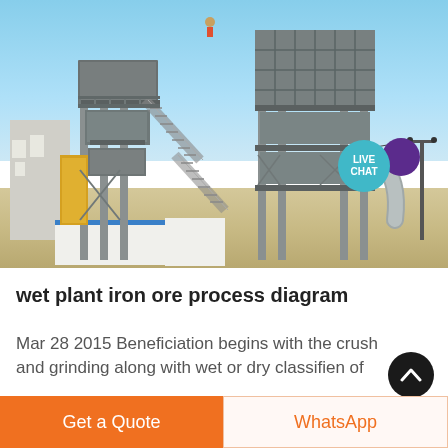[Figure (photo): Large industrial building or mineral processing plant structure with multiple levels, metal scaffolding, staircases, and equipment, photographed against a blue sky. A LIVE CHAT badge appears in the top-right corner of the image.]
wet plant iron ore process diagram
Mar 28 2015 Beneficiation begins with the crush and grinding along with wet or dry classifien of